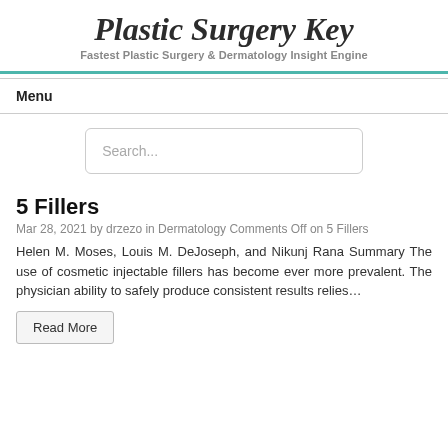Plastic Surgery Key
Fastest Plastic Surgery & Dermatology Insight Engine
Menu
5 Fillers
Mar 28, 2021 by drzezo in Dermatology Comments Off on 5 Fillers
Helen M. Moses, Louis M. DeJoseph, and Nikunj Rana Summary The use of cosmetic injectable fillers has become ever more prevalent. The physician ability to safely produce consistent results relies…
Read More